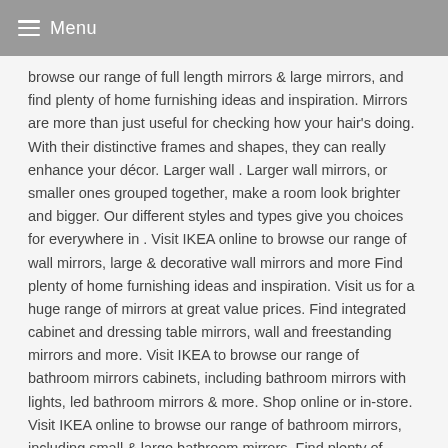Menu
browse our range of full length mirrors & large mirrors, and find plenty of home furnishing ideas and inspiration. Mirrors are more than just useful for checking how your hair's doing. With their distinctive frames and shapes, they can really enhance your décor. Larger wall . Larger wall mirrors, or smaller ones grouped together, make a room look brighter and bigger. Our different styles and types give you choices for everywhere in . Visit IKEA online to browse our range of wall mirrors, large & decorative wall mirrors and more Find plenty of home furnishing ideas and inspiration. Visit us for a huge range of mirrors at great value prices. Find integrated cabinet and dressing table mirrors, wall and freestanding mirrors and more. Visit IKEA to browse our range of bathroom mirrors cabinets, including bathroom mirrors with lights, led bathroom mirrors & more. Shop online or in-store. Visit IKEA online to browse our range of bathroom mirrors, including small & large bathroom mirrors. Find plenty of . Zoom In. Mirror with integrated lighting . Larger wall mirrors, or smaller ones grouped together, make a room look brighter and bigger. Our different styles and types give you choices for everywhere in .